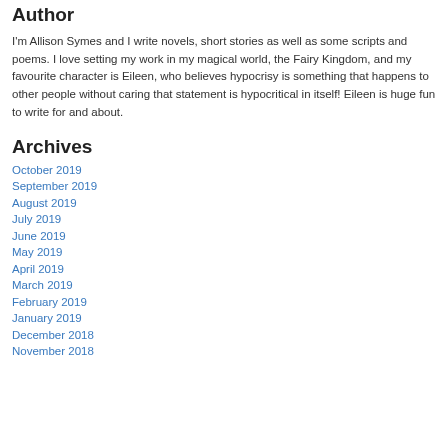Author
I'm Allison Symes and I write novels, short stories as well as some scripts and poems.  I love setting my work in my magical world, the Fairy Kingdom, and my favourite character is Eileen, who believes hypocrisy is something that happens to other people without caring that statement is hypocritical in itself!  Eileen is huge fun to write for and about.
Archives
October 2019
September 2019
August 2019
July 2019
June 2019
May 2019
April 2019
March 2019
February 2019
January 2019
December 2018
November 2018